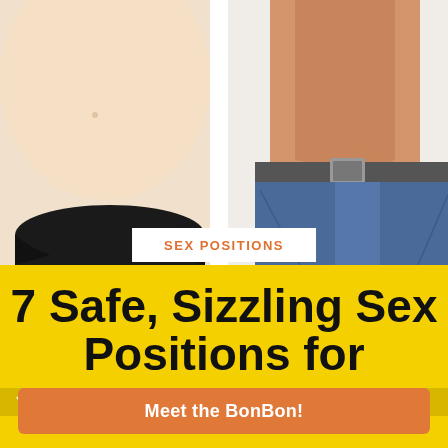[Figure (photo): Two torsos side by side: left shows a woman's pregnant belly with black bikini bottom, right shows a shirtless man unbuckling his belt in jeans, white background]
SEX POSITIONS
7 Safe, Sizzling Sex Positions for
Your favorite sex toy - now hands-free!
Meet the BonBon!